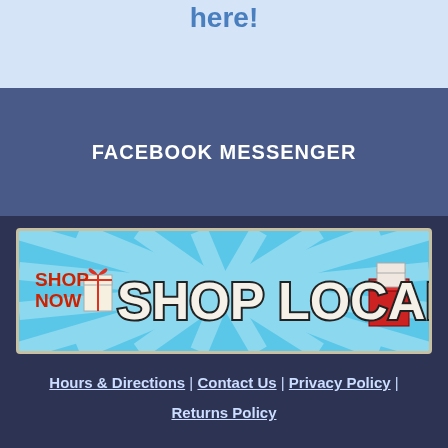here!
FACEBOOK MESSENGER
[Figure (illustration): Shop Local banner with 'SHOP NOW' text in red on left, 'SHOP LOCAL' in large retro white letters with dark outline in center, gift boxes on left and right sides, light blue background with radiating rays]
Hours & Directions | Contact Us | Privacy Policy | Returns Policy